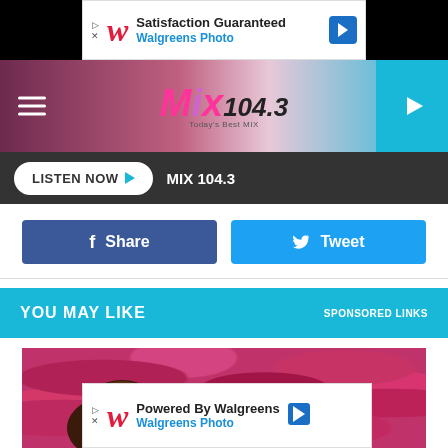[Figure (screenshot): Walgreens Photo advertisement banner - 'Satisfaction Guaranteed / Walgreens Photo']
[Figure (logo): Mix 104.3 radio station logo - Today's Best Mix]
LISTEN NOW ▶  MIX 104.3
Share
Tweet
YOU MAY LIKE   SPONSORED LINKS
[Figure (photo): Woman with eyes closed surrounded by pink shag carpet texture]
[Figure (screenshot): Walgreens Photo advertisement banner - 'Powered By Walgreens / Walgreens Photo']